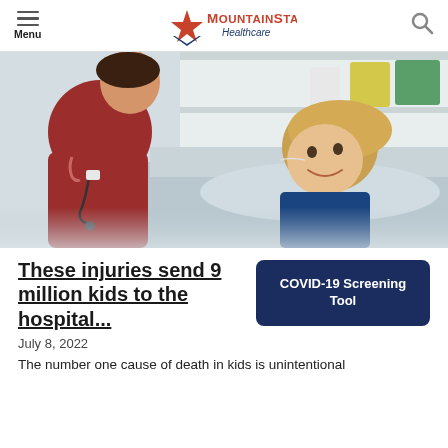Menu | MountainStar Healthcare
[Figure (photo): A nurse in dark red scrubs with a stethoscope smiling and interacting with a young child patient lying in a hospital bed. Medical equipment and shelves are visible in the background.]
These injuries send 9 million kids to the hospital...
COVID-19 Screening Tool
July 8, 2022
The number one cause of death in kids is unintentional